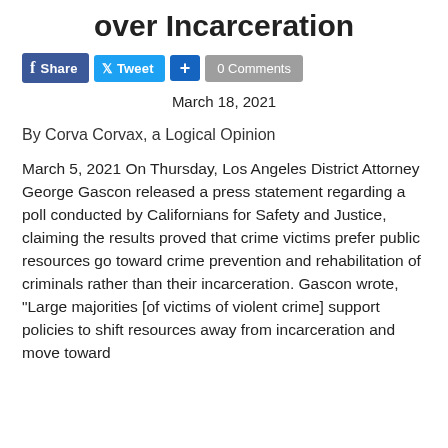over Incarceration
[Figure (other): Social sharing buttons: Facebook Share, Twitter Tweet, Google+ plus button, and 0 Comments button]
March 18, 2021
By Corva Corvax, a Logical Opinion
March 5, 2021 On Thursday, Los Angeles District Attorney George Gascon released a press statement regarding a poll conducted by Californians for Safety and Justice, claiming the results proved that crime victims prefer public resources go toward crime prevention and rehabilitation of criminals rather than their incarceration. Gascon wrote, "Large majorities [of victims of violent crime] support policies to shift resources away from incarceration and move toward